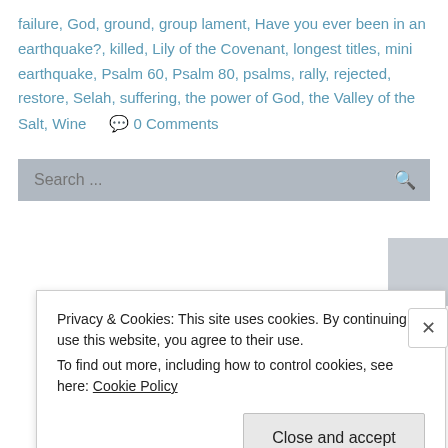failure, God, ground, group lament, Have you ever been in an earthquake?, killed, Lily of the Covenant, longest titles, mini earthquake, Psalm 60, Psalm 80, psalms, rally, rejected, restore, Selah, suffering, the power of God, the Valley of the Salt, Wine    💬 0 Comments
[Figure (screenshot): Search bar with placeholder text 'Search ...' and a magnifying glass icon, on a gray background]
Privacy & Cookies: This site uses cookies. By continuing to use this website, you agree to their use.
To find out more, including how to control cookies, see here: Cookie Policy